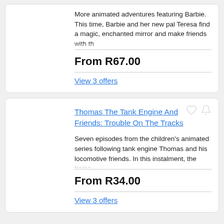More animated adventures featuring Barbie. This time, Barbie and her new pal Teresa find a magic, enchanted mirror and make friends with the...
From R67.00
View 3 offers
Thomas The Tank Engine And Friends: Trouble On The Tracks
Seven episodes from the children's animated series following tank engine Thomas and his locomotive friends. In this instalment, the trains...
From R34.00
View 3 offers